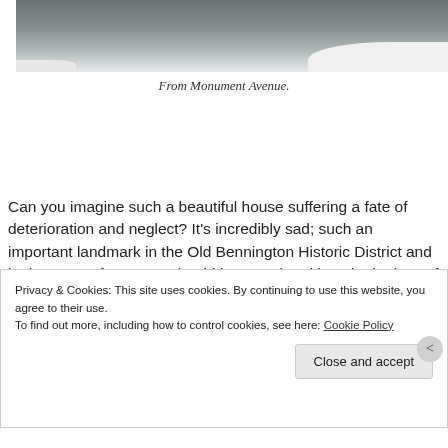[Figure (photo): Photograph of a historic house viewed from Monument Avenue, with snow and grey sky in background]
From Monument Avenue.
Can you imagine such a beautiful house suffering a fate of deterioration and neglect? It’s incredibly sad; such an important landmark in the Old Bennington Historic District and in the State of Vermont should be saved and loved! The loss of this building would be catastrophic. It breaks my
Privacy & Cookies: This site uses cookies. By continuing to use this website, you agree to their use.
To find out more, including how to control cookies, see here: Cookie Policy
Close and accept